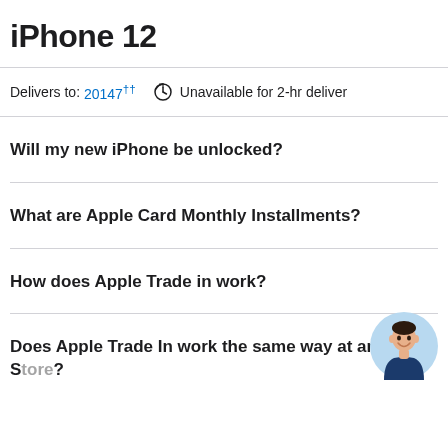iPhone 12
Delivers to: 20147†† Unavailable for 2-hr delivery
Will my new iPhone be unlocked?
What are Apple Card Monthly Installments?
How does Apple Trade in work?
Does Apple Trade In work the same way at an Apple Store?
How does the Apple Trade In allow me to trade?